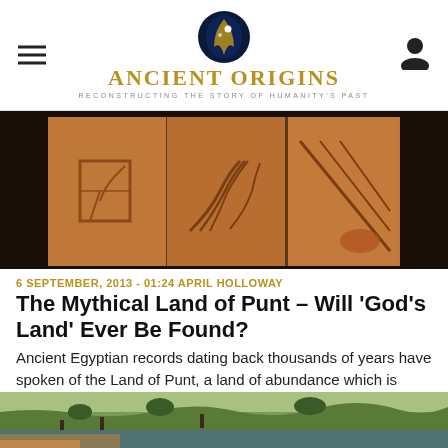Ancient Origins — Reconstructing the Story of Humanity's Past
[Figure (photo): Ancient carved stone relief panels with Egyptian hieroglyphic carvings, brown terracotta color against dark background]
6 SEPTEMBER, 2013 - 01:24 APRIL HOLLOWAY
The Mythical Land of Punt – Will 'God's Land' Ever Be Found?
Ancient Egyptian records dating back thousands of years have spoken of the Land of Punt, a land of abundance which is believed to have prospered between 2450 BC and 1155 BC and where the Egyptians...
[Figure (photo): Colorful illustration of ancient landscape at bottom of page, partially visible, green and orange tones]